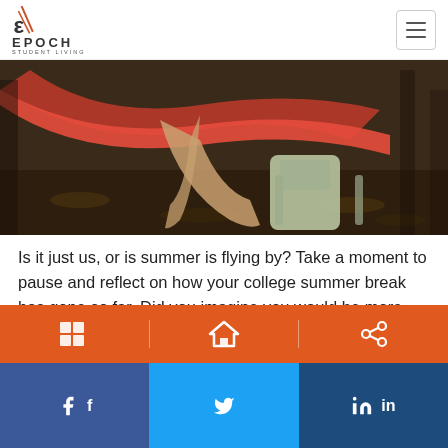EPOCH STUDENT LIVING
[Figure (photo): Person sitting in a red hammock outdoors with a backpack on the ground nearby, surrounded by fallen leaves and trees]
Is it just us, or is summer is flying by? Take a moment to pause and reflect on how your college summer break has gone so far. Did you imagine you would be more productive, or alternatively, get more time to relax? If you had different expectations, or just feel like time is getting away from you, try out these ten tips to make the most of your summer vacation.
[Figure (infographic): Orange bar with social sharing icons (share, home/link, other)]
[Figure (infographic): Social sharing buttons: Facebook, Twitter, LinkedIn]